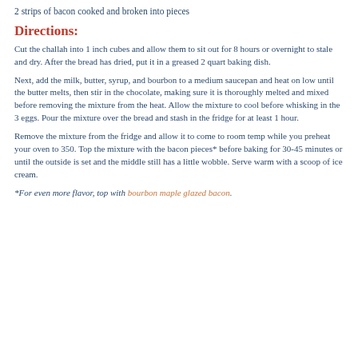2 strips of bacon cooked and broken into pieces
Directions:
Cut the challah into 1 inch cubes and allow them to sit out for 8 hours or overnight to stale and dry. After the bread has dried, put it in a greased 2 quart baking dish.
Next, add the milk, butter, syrup, and bourbon to a medium saucepan and heat on low until the butter melts, then stir in the chocolate, making sure it is thoroughly melted and mixed before removing the mixture from the heat. Allow the mixture to cool before whisking in the 3 eggs. Pour the mixture over the bread and stash in the fridge for at least 1 hour.
Remove the mixture from the fridge and allow it to come to room temp while you preheat your oven to 350. Top the mixture with the bacon pieces* before baking for 30-45 minutes or until the outside is set and the middle still has a little wobble. Serve warm with a scoop of ice cream.
*For even more flavor, top with bourbon maple glazed bacon.